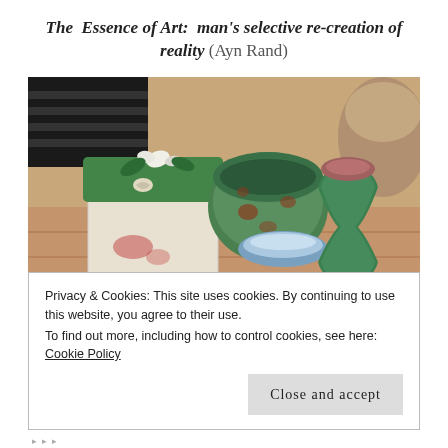The Essence of Art: man's selective re-creation of reality (Ayn Rand)
[Figure (photo): Photograph of ceramic pottery pieces arranged on a brick surface: a green square lidded box with white flower decoration, a green and rust-colored bowl, a small blue shallow dish, and a green hourglass-shaped vase, with a stone or ceramic vessel visible in the upper right background.]
Privacy & Cookies: This site uses cookies. By continuing to use this website, you agree to their use.
To find out more, including how to control cookies, see here: Cookie Policy
Close and accept